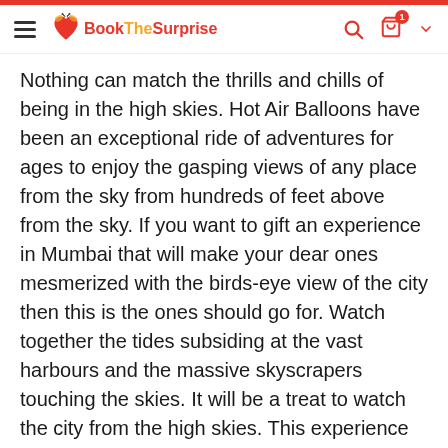Book The Surprise — website header with hamburger menu, logo, search, cart (1 item), and chevron
Nothing can match the thrills and chills of being in the high skies. Hot Air Balloons have been an exceptional ride of adventures for ages to enjoy the gasping views of any place from the sky from hundreds of feet above from the sky. If you want to gift an experience in Mumbai that will make your dear ones mesmerized with the birds-eye view of the city then this is the ones should go for. Watch together the tides subsiding at the vast harbours and the massive skyscrapers touching the skies. It will be a treat to watch the city from the high skies. This experience can be fulfilled at Orritel Hotel, Talegaon, Old Pune Mumbai Highway. You will be treated with delectable refreshments upon arrival. A private professional pilot will take the lead and take be responsible for an unforgettable adventurous episode you have had together with your